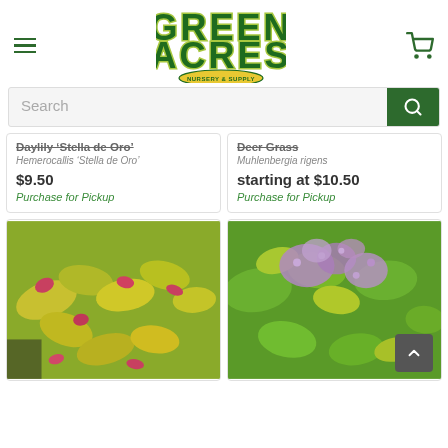[Figure (logo): Green Acres Nursery & Supply logo with hamburger menu and cart icon]
Search
Daylily 'Stella de Oro'
Hemerocallis 'Stella de Oro'
$9.50
Purchase for Pickup
Deer Grass
Muhlenbergia rigens
starting at $10.50
Purchase for Pickup
[Figure (photo): Close-up of yellow-green and red-tipped foliage plant]
[Figure (photo): Shrub with purple-pink flowers and yellow-green leaves]